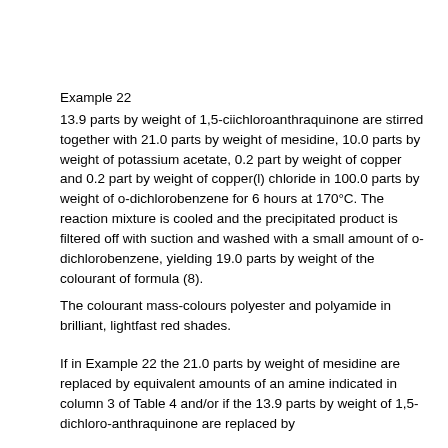Example 22
13.9 parts by weight of 1,5-ciichloroanthraquinone are stirred together with 21.0 parts by weight of mesidine, 10.0 parts by weight of potassium acetate, 0.2 part by weight of copper and 0.2 part by weight of copper(l) chloride in 100.0 parts by weight of o-dichlorobenzene for 6 hours at 170°C. The reaction mixture is cooled and the precipitated product is filtered off with suction and washed with a small amount of o-dichlorobenzene, yielding 19.0 parts by weight of the colourant of formula (8).
The colourant mass-colours polyester and polyamide in brilliant, lightfast red shades.
If in Example 22 the 21.0 parts by weight of mesidine are replaced by equivalent amounts of an amine indicated in column 3 of Table 4 and/or if the 13.9 parts by weight of 1,5-dichloro-anthraquinone are replaced by